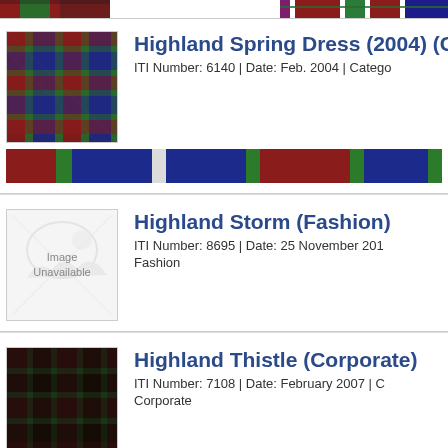[Figure (illustration): Top strip showing tartan pattern color bands - partial view cropped at top of page]
[Figure (photo): Tartan fabric swatch showing Highland Spring Dress pattern with red, green, blue, and dark colors in plaid weave]
Highland Spring Dress (2004) (C...
ITI Number: 6140 | Date: Feb. 2004 | Catego...
[Figure (illustration): Color swatch strip showing the Highland Spring Dress tartan thread colors: dark red, green, blue, green, dark red, green, blue]
[Figure (illustration): Image Unavailable placeholder for Highland Storm (Fashion)]
Highland Storm (Fashion)
ITI Number: 8695 | Date: 25 November 201...
Fashion
[Figure (photo): Tartan fabric swatch showing Highland Thistle (Corporate) pattern with very dark, nearly black plaid with subtle dark red and green]
Highland Thistle (Corporate)
ITI Number: 7108 | Date: February 2007 | C...
Corporate